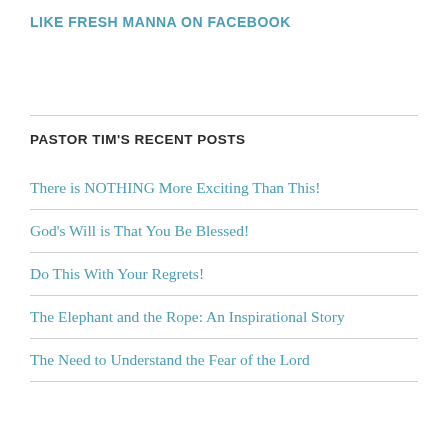LIKE FRESH MANNA ON FACEBOOK
PASTOR TIM'S RECENT POSTS
There is NOTHING More Exciting Than This!
God's Will is That You Be Blessed!
Do This With Your Regrets!
The Elephant and the Rope: An Inspirational Story
The Need to Understand the Fear of the Lord